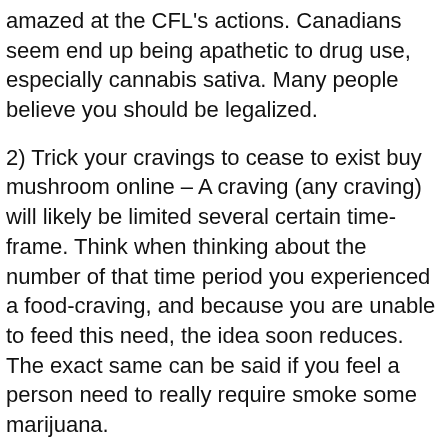amazed at the CFL's actions. Canadians seem end up being apathetic to drug use, especially cannabis sativa. Many people believe you should be legalized.
2) Trick your cravings to cease to exist buy mushroom online – A craving (any craving) will likely be limited several certain time-frame. Think when thinking about the number of that time period you experienced a food-craving, and because you are unable to feed this need, the idea soon reduces. The exact same can be said if you feel a person need to really require smoke some marijuana.
Might you laugh at and on-line massage therapy schools your blunders? Yes = plus 1. No = minus 3. FACT: Laughter, humility, and a constructive outlooks are linked to increased life time.